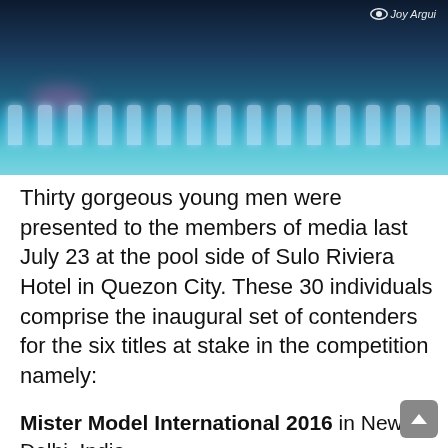[Figure (photo): Photo of men standing at poolside of Sulo Riviera Hotel with blue illuminated pool and pink lighting, watermark reading 'Joy Argui' with eye icon in top right]
Thirty gorgeous young men were presented to the members of media last July 23 at the pool side of Sulo Riviera Hotel in Quezon City. These 30 individuals comprise the inaugural set of contenders for the six titles at stake in the competition namely:
Mister Model International 2016 in New Delhi, India
Mister Universal Ambassador 2016 in Surabaya/Bali, Indonesia
Mister Tourism International 2016 in Panama City, Panama for 2017 pageant